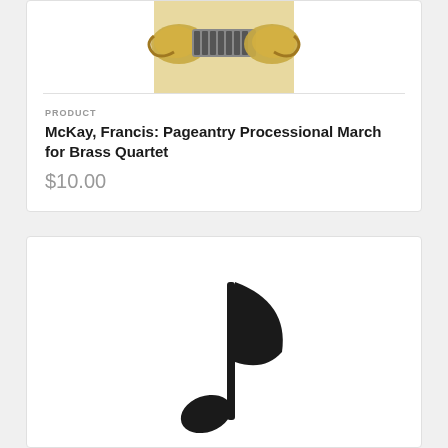[Figure (photo): Brass musical instruments product image with a red publisher logo at the bottom]
PRODUCT
McKay, Francis: Pageantry Processional March for Brass Quartet
$10.00
[Figure (illustration): A large black eighth musical note icon on white background]